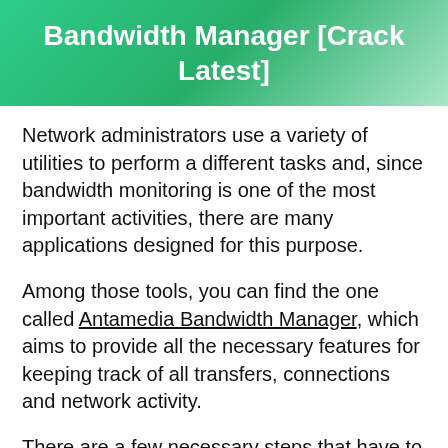Bandwidth Manager [Crack Latest]
Network administrators use a variety of utilities to perform a different tasks and, since bandwidth monitoring is one of the most important activities, there are many applications designed for this purpose.
Among those tools, you can find the one called Antamedia Bandwidth Manager, which aims to provide all the necessary features for keeping track of all transfers, connections and network activity.
There are a few necessary steps that have to be followed in order to have this program up